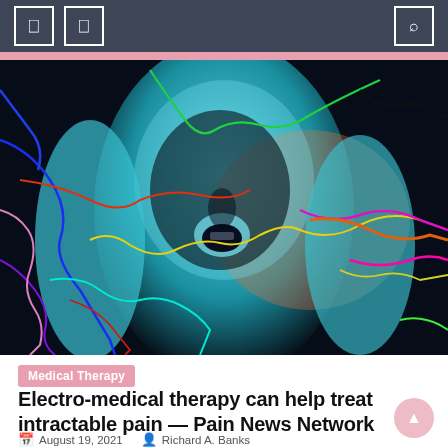Navigation bar with menu icons and search
[Figure (illustration): Medical illustration of a human figure holding their head with colorful lightning bolt-like nerve/pain signals in blue, red, green, yellow, magenta, cyan, purple, and orange radiating from the head area against a dark/teal background]
Medical Therapy
Electro-medical therapy can help treat intractable pain — Pain News Network
August 19, 2021   Richard A. Banks